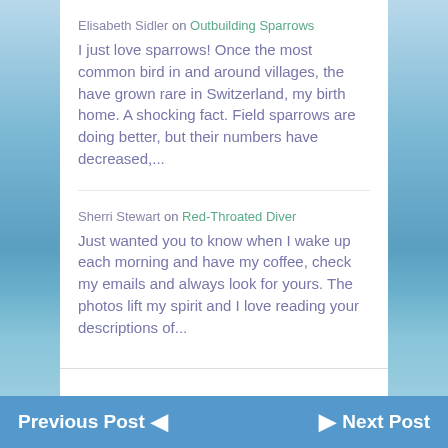Elisabeth Sidler on Outbuilding Sparrows
I just love sparrows! Once the most common bird in and around villages, the have grown rare in Switzerland, my birth home. A shocking fact. Field sparrows are doing better, but their numbers have decreased,...
Sherri Stewart on Red-Throated Diver
Just wanted you to know when I wake up each morning and have my coffee, check my emails and always look for yours. The photos lift my spirit and I love reading your descriptions of...
Visit my YouTube channel for more wildlife adventures
[Figure (photo): Circular photo of green plant stems/reeds]
Previous Post ◄ ► Next Post